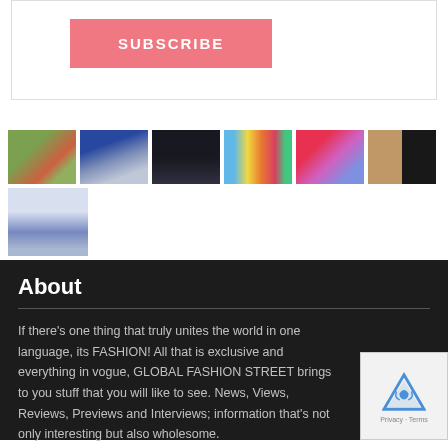[Figure (other): Subscribe button (pink/salmon colored) inside a white card with border]
[Figure (photo): Row of 6 fashion/lifestyle thumbnail images and one additional thumbnail below]
About
If there’s one thing that truly unites the world in one language, its FASHION! All that is exclusive and everything in vogue, GLOBAL FASHION STREET brings to you stuff that you will like to see. News, Views, Reviews, Previews and Interviews; information that’s not only interesting but also wholesome.